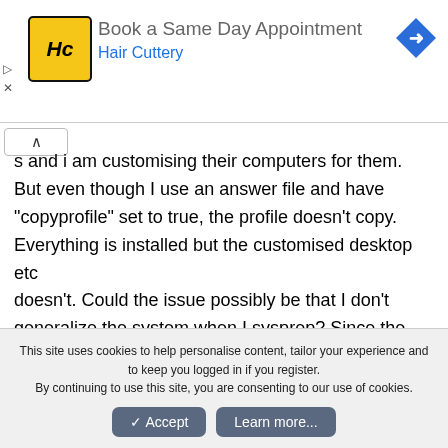[Figure (other): Advertisement banner: Hair Cuttery logo (HC in yellow square), text 'Book a Same Day Appointment', 'Hair Cuttery', blue navigation arrow icon, play and close controls]
s and i am customising their computers for them. But even though I use an answer file and have "copyprofile" set to true, the profile doesn't copy. Everything is installed but the customised desktop etc doesn't. Could the issue possibly be that I don't generalize the system when I sysprep? Since the image is specific to that one machine I didn't think it was necessary. I ran the commands:
This site uses cookies to help personalise content, tailor your experience and to keep you logged in if you register.
By continuing to use this site, you are consenting to our use of cookies.